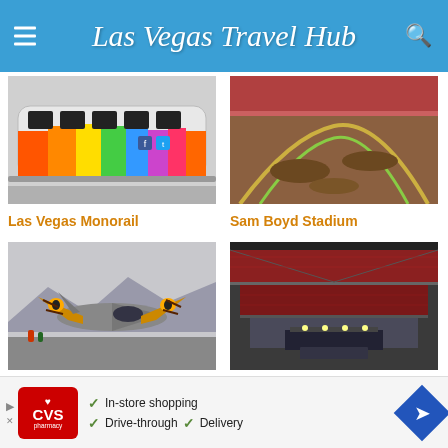Las Vegas Travel Hub
[Figure (photo): Las Vegas Monorail train with colorful graffiti art paint job, including social media icons]
Las Vegas Monorail
[Figure (photo): Sam Boyd Stadium aerial view showing motocross dirt track setup on the field]
Sam Boyd Stadium
[Figure (photo): Military jet aircraft with tiger face painted on the nose, on a tarmac]
Nellis Air Force Base
[Figure (photo): Orleans Arena interior view showing seating and stage setup]
Orleans Arena
[Figure (infographic): CVS Pharmacy advertisement banner: In-store shopping, Drive-through, Delivery]